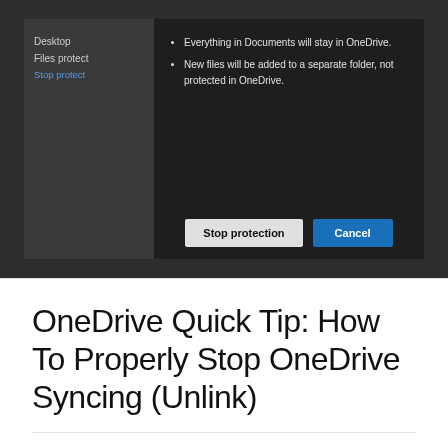[Figure (screenshot): Screenshot of a OneDrive dialog showing 'Stop protection' and 'Cancel' buttons, with bullet points: 'Everything in Documents will stay in OneDrive.' and 'New files will be added to a separate folder, not protected in OneDrive.']
OneDrive Quick Tip: How To Properly Stop OneDrive Syncing (Unlink)
ON DECEMBER 31, 2018 / BY MANOJ V KARUNARATHNE / LEAVE A COMMENT